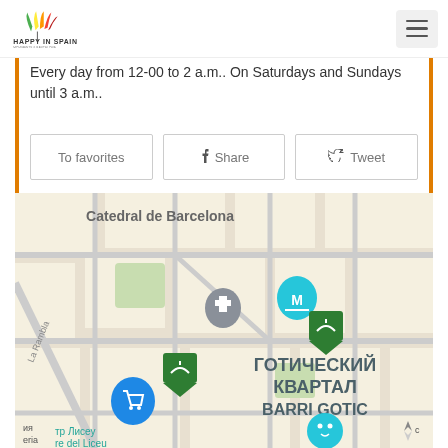HAPPY IN SPAIN
Every day from 12-00 to 2 a.m.. On Saturdays and Sundays until 3 a.m..
To favorites
Share
Tweet
[Figure (map): Street map showing Catedral de Barcelona and ГОТИЧЕСКИЙ КВАРТАЛ / BARRI GOTIC area with map pins for restaurant and museum locations]